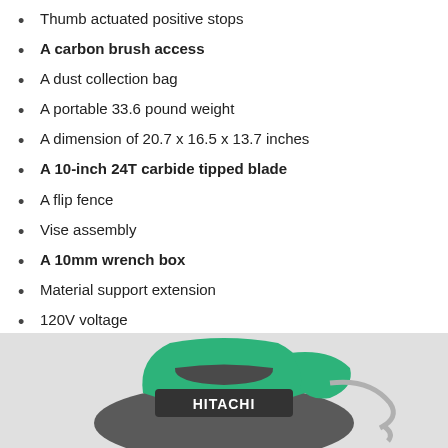Thumb actuated positive stops
A carbon brush access
A dust collection bag
A portable 33.6 pound weight
A dimension of 20.7 x 16.5 x 13.7 inches
A 10-inch 24T carbide tipped blade
A flip fence
Vise assembly
A 10mm wrench box
Material support extension
120V voltage
A corded electric power source
A 30 days satisfaction guarantee with a 1 year limited warranty
[Figure (photo): Hitachi power tool in green and grey color, showing the Hitachi branding logo on the tool body.]